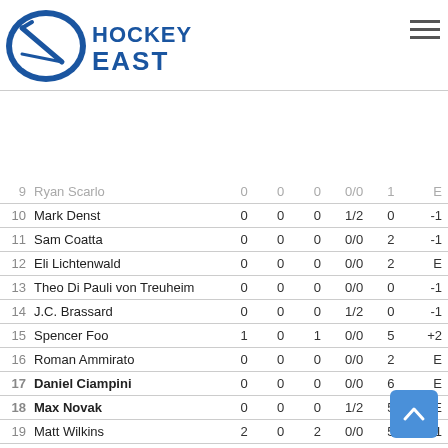[Figure (logo): Hockey East logo with hockey puck and stick icon, blue and white]
| # | Name | G | A | P | S/O | Shots | +/- |
| --- | --- | --- | --- | --- | --- | --- | --- |
| 9 | Ryan Scarlo | 0 | 0 | 0 | 0/0 | 1 | E |
| 10 | Mark Denst | 0 | 0 | 0 | 1/2 | 0 | -1 |
| 11 | Sam Coatta | 0 | 0 | 0 | 0/0 | 2 | -1 |
| 12 | Eli Lichtenwald | 0 | 0 | 0 | 0/0 | 2 | E |
| 13 | Theo Di Pauli von Treuheim | 0 | 0 | 0 | 0/0 | 0 | -1 |
| 14 | J.C. Brassard | 0 | 0 | 0 | 1/2 | 0 | -1 |
| 15 | Spencer Foo | 1 | 0 | 1 | 0/0 | 5 | +2 |
| 16 | Roman Ammirato | 0 | 0 | 0 | 0/0 | 2 | E |
| 17 | Daniel Ciampini | 0 | 0 | 0 | 0/0 | 6 | E |
| 18 | Max Novak | 0 | 0 | 0 | 1/2 | 5 | E |
| 19 | Matt Wilkins | 2 | 0 | 2 | 0/0 | 5 | +1 |
| 21 | Mike Vecchione | 0 | 2 | 2 | 0/0 | 2 | +1 |
| 22 | Connor Light | 0 | 0 | 0 | 0/0 | 0 | E |
| 24 | Sébastien Gingras | 0 | 2 | 2 | 0/0 | 3 | E |
| 28 | Noah Henry | 0 | 0 | 0 | 0/0 | 0 | -1 |
| 1 | G Alex Sakellaropoulos |  |  |  | Did Not Play |  |  |
| 30 | G Colin Stevens | 0 | 0 | 0 | 0/0 | 0 | E |